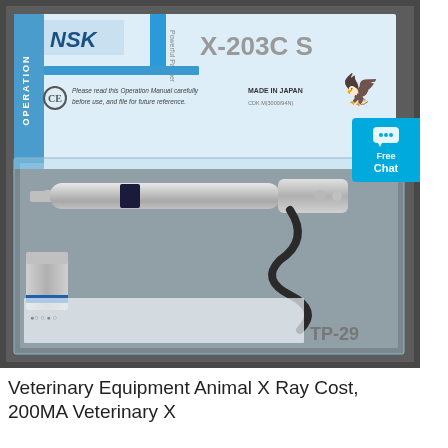[Figure (photo): NSK dental/veterinary handpiece kit in a clear plastic case with box lid. The box lid shows NSK logo, model X-203C S, Operation Manual text, CE mark, Made in Japan text. The case contains a metal dental handpiece with dark collar band, a smaller attachment with blue band, coiled cord, and is labeled TP-29. A blue 'Free Chat' button overlay appears on the right side.]
Veterinary Equipment Animal X Ray Cost, 200MA Veterinary X